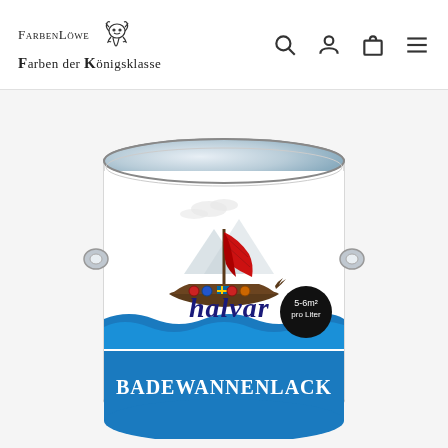FarbenLöwe – Farben der Königsklasse
[Figure (photo): Paint can with Halvar Badewannenlack (bathtub lacquer) label. The can is open showing the silver interior lid. The label features a Viking ship with a red sail on blue waves, the brand name 'halvar' in stylized text, a black circle badge reading '5-6m² pro Liter', and the product name 'BADEWANNENLACK' in bold white text on a blue band at the bottom.]